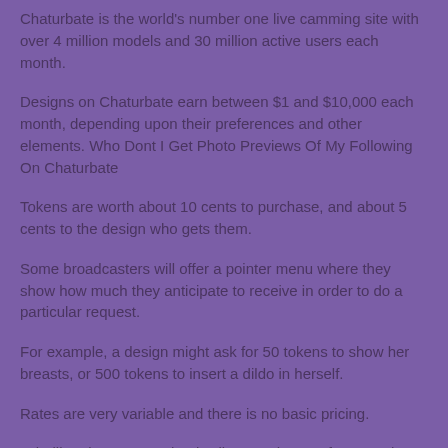Chaturbate is the world's number one live camming site with over 4 million models and 30 million active users each month.
Designs on Chaturbate earn between $1 and $10,000 each month, depending upon their preferences and other elements. Who Dont I Get Photo Previews Of My Following On Chaturbate
Tokens are worth about 10 cents to purchase, and about 5 cents to the design who gets them.
Some broadcasters will offer a pointer menu where they show how much they anticipate to receive in order to do a particular request.
For example, a design might ask for 50 tokens to show her breasts, or 500 tokens to insert a dildo in herself.
Rates are very variable and there is no basic pricing.
Telediltronic sex toys, that is vibrators that are from another